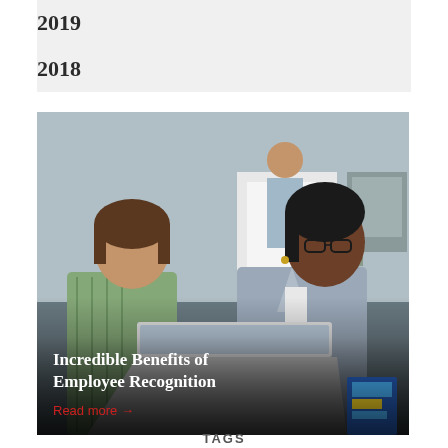2019
2018
[Figure (photo): Two women in an office setting looking at a laptop together. One woman has short brown hair wearing a striped blouse, the other has dark hair and glasses wearing a grey blazer. In the background, a person is leaning over a white desk.]
Incredible Benefits of Employee Recognition
Read more →
TAGS